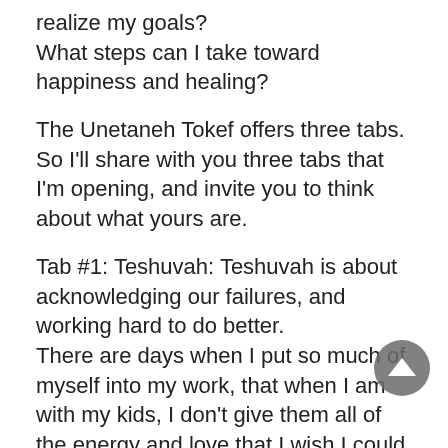realize my goals?
What steps can I take toward happiness and healing?
The Unetaneh Tokef offers three tabs. So I'll share with you three tabs that I'm opening, and invite you to think about what yours are.
Tab #1: Teshuvah: Teshuvah is about acknowledging our failures, and working hard to do better.
There are days when I put so much of myself into my work, that when I am with my kids, I don't give them all of the energy and love that I wish I could.
That's a tab that I'm keeping open.